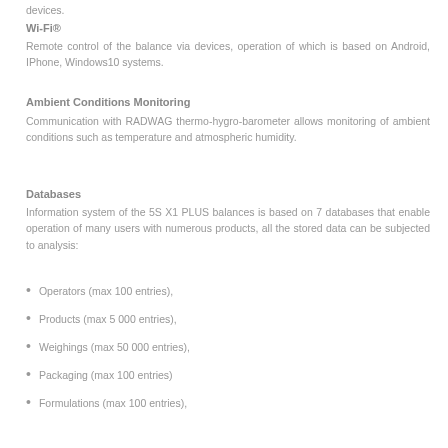devices.
Wi-Fi®
Remote control of the balance via devices, operation of which is based on Android, IPhone, Windows10 systems.
Ambient Conditions Monitoring
Communication with RADWAG thermo-hygro-barometer allows monitoring of ambient conditions such as temperature and atmospheric humidity.
Databases
Information system of the 5S X1 PLUS balances is based on 7 databases that enable operation of many users with numerous products, all the stored data can be subjected to analysis:
Operators (max 100 entries),
Products (max 5 000 entries),
Weighings (max 50 000 entries),
Packaging (max 100 entries)
Formulations (max 100 entries),